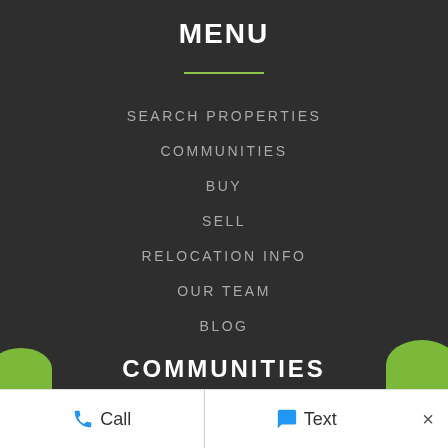MENU
SEARCH PROPERTIES
COMMUNITIES
BUY
SELL
RELOCATION INFO
OUR TEAM
BLOG
COMMUNITIES
CAROLINA FOREST
Call   Text   ×